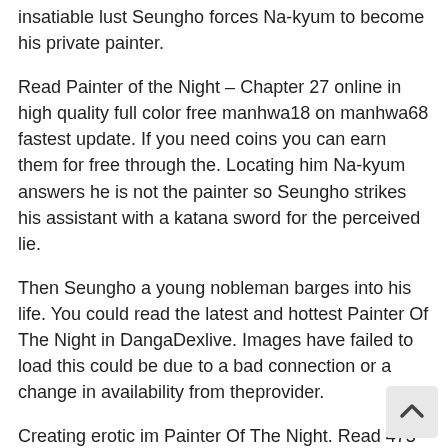insatiable lust Seungho forces Na-kyum to become his private painter.
Read Painter of the Night – Chapter 27 online in high quality full color free manhwa18 on manhwa68 fastest update. If you need coins you can earn them for free through the. Locating him Na-kyum answers he is not the painter so Seungho strikes his assistant with a katana sword for the perceived lie.
Then Seungho a young nobleman barges into his life. You could read the latest and hottest Painter Of The Night in DangaDexlive. Images have failed to load this could be due to a bad connection or a change in availability from theprovider.
Creating erotic im Painter Of The Night. Read 473 reviews from the worlds largest community for readers. Crimson Spell – Quite possibly my favorite after Sekaiichi Hatsukoi.